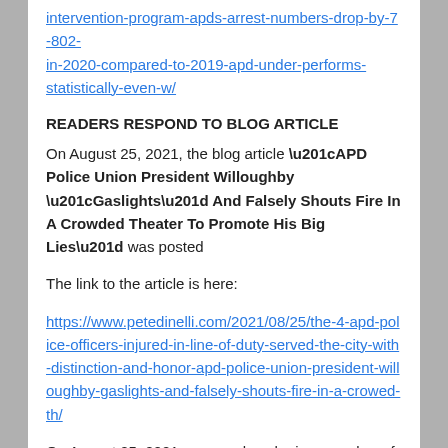intervention-program-apds-arrest-numbers-drop-by-7-802-in-2020-compared-to-2019-apd-under-performs-statistically-even-w/
READERS RESPOND TO BLOG ARTICLE
On August 25, 2021, the blog article “APD Police Union President Willoughby “Gaslights” And Falsely Shouts Fire In A Crowded Theater To Promote His Big Lies” was posted
The link to the article is here:
https://www.petedinelli.com/2021/08/25/the-4-apd-police-officers-injured-in-line-of-duty-served-the-city-with-distinction-and-honor-apd-police-union-president-willoughby-gaslights-and-falsely-shouts-fire-in-a-crowed-th/
On August 25, 2021, one reader who is a member of a Community Policing Counsel sent an email expressing